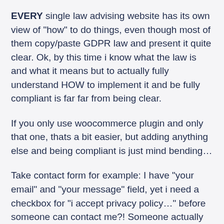EVERY single law advising website has its own view of "how" to do things, even though most of them copy/paste GDPR law and present it quite clear. Ok, by this time i know what the law is and what it means but to actually fully understand HOW to implement it and be fully compliant is far far from being clear.
If you only use woocommerce plugin and only that one, thats a bit easier, but adding anything else and being compliant is just mind bending…
Take contact form for example: I have "your email" and "your message" field, yet i need a checkbox for "i accept privacy policy…" before someone can contact me?! Someone actually wants to contact me and to get a reply or an answer, and how do they do that if they do not